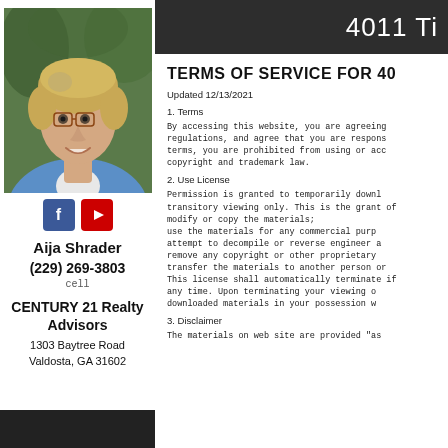[Figure (photo): Headshot photo of a woman (Aija Shrader) with short blond-gray hair, glasses, smiling, wearing a blue sweater over white collar, with green foliage background.]
[Figure (logo): Social media icons: Facebook (blue square with 'f') and YouTube (red square with play button)]
Aija Shrader
(229) 269-3803
cell
CENTURY 21 Realty Advisors
1303 Baytree Road Valdosta, GA 31602
4011 Ti
TERMS OF SERVICE FOR 40
Updated 12/13/2021
1. Terms
By accessing this website, you are agreeing regulations, and agree that you are respons terms, you are prohibited from using or acc copyright and trademark law.
2. Use License
Permission is granted to temporarily downl transitory viewing only. This is the grant of modify or copy the materials; use the materials for any commercial purp attempt to decompile or reverse engineer a remove any copyright or other proprietary transfer the materials to another person or This license shall automatically terminate if any time. Upon terminating your viewing o downloaded materials in your possession w
3. Disclaimer
The materials on web site are provided "as